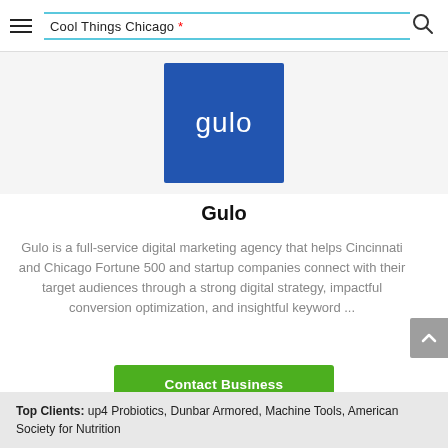Cool Things Chicago *
[Figure (logo): Gulo company logo — white text 'gulo' on blue square background]
Gulo
Gulo is a full-service digital marketing agency that helps Cincinnati and Chicago Fortune 500 and startup companies connect with their target audiences through a strong digital strategy, impactful conversion optimization, and insightful keyword ...
Contact Business
Top Clients: up4 Probiotics, Dunbar Armored, Machine Tools, American Society for Nutrition